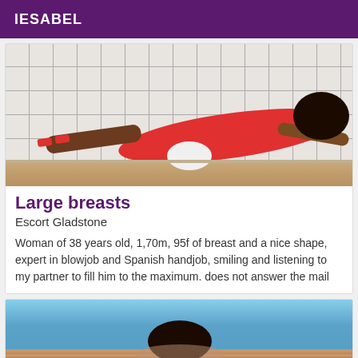IESABEL
[Figure (photo): Woman in red dress doing a plank pose in a bathroom/tiled room setting]
Large breasts
Escort Gladstone
Woman of 38 years old, 1,70m, 95f of breast and a nice shape, expert in blowjob and Spanish handjob, smiling and listening to my partner to fill him to the maximum. does not answer the mail
[Figure (photo): Woman with dark hair near a swimming pool, seen from behind/top]